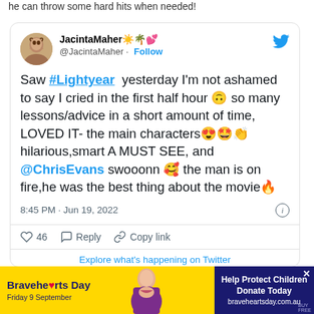he can throw some hard hits when needed!
[Figure (screenshot): Tweet from @JacintaMaher with emoji. Text: Saw #Lightyear yesterday I'm not ashamed to say I cried in the first half hour 🙃 so many lessons/advice in a short amount of time, LOVED IT- the main characters 😍🤩👏 hilarious,smart A MUST SEE, and @ChrisEvans swooonn 🥰 the man is on fire,he was the best thing about the movie🔥. Timestamp: 8:45 PM · Jun 19, 2022. 46 likes.]
[Figure (infographic): Bravehearts Day advertisement banner. Friday 9 September. Help Protect Children Donate Today. braveheartsday.com.au]